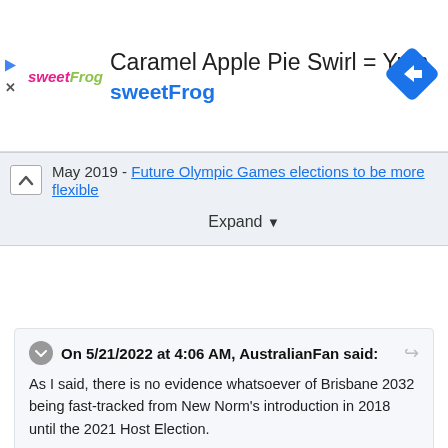[Figure (screenshot): sweetFrog advertisement banner with logo, title 'Caramel Apple Pie Swirl = Yum', subtitle 'sweetFrog', and a blue diamond navigation icon]
May 2019 - Future Olympic Games elections to be more flexible
Expand
On 5/21/2022 at 4:06 AM, AustralianFan said:
As I said, there is no evidence whatsoever of Brisbane 2032 being fast-tracked from New Norm's introduction in 2018 until the 2021 Host Election.
There is also is no evidence whatsoever of the 2030 Host Selection process being fast-tracked either.
Nothing was fast-tracked. Nothing, not the announcement